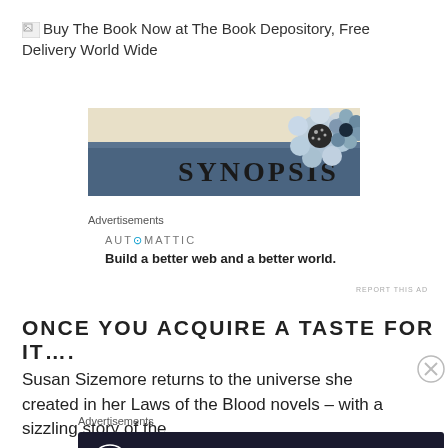[Figure (other): Broken image icon followed by text link: Buy The Book Now at The Book Depository, Free Delivery World Wide]
[Figure (illustration): Synopsis banner image with denim-style background, flower decoration, and text 'SYNOPSIS' in large letters]
Advertisements
[Figure (other): Automattic advertisement: AUT⊙MATTIC - Build a better web and a better world.]
REPORT THIS AD
ONCE YOU ACQUIRE A TASTE FOR IT….
Susan Sizemore returns to the universe she created in her Laws of the Blood novels – with a sizzling story of the
Advertisements
[Figure (other): Advertisement: Launch your online course with WordPress - Learn More]